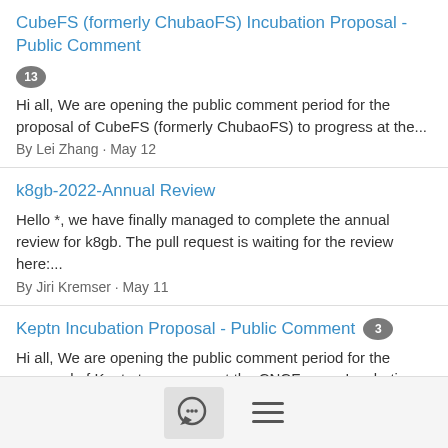CubeFS (formerly ChubaoFS) Incubation Proposal - Public Comment [13] — Hi all, We are opening the public comment period for the proposal of CubeFS (formerly ChubaoFS) to progress at the... By Lei Zhang · May 12
k8gb-2022-Annual Review — Hello *, we have finally managed to complete the annual review for k8gb. The pull request is waiting for the review here:... By Jiri Kremser · May 11
Keptn Incubation Proposal - Public Comment [3] — Hi all, We are opening the public comment period for the proposal of Keptn to progress at the CNCF as an Incubating... By Lei Zhang · May 10
Special Election for GB Appointed Seat — Cornelia Davis has stepped down from the TOC, we thank her very much for her work! We'll be running a special election for...
[Figure (other): Bottom navigation bar with a chat bubble icon button and a hamburger menu icon]